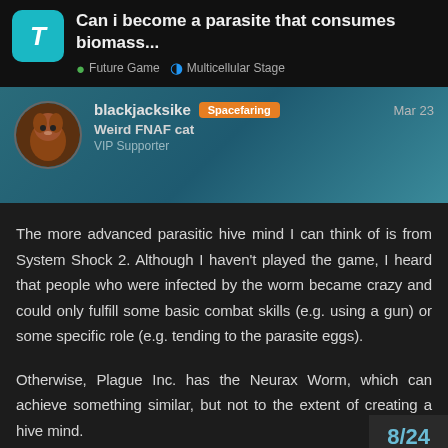Can i become a parasite that consumes biomass...
Future Game  Multicellular Stage
blackjacksike  Spacefaring
Weird FNAF cat
VIP Supporter
Mar 23
The more advanced parasitic hive mind I can think of is from System Shock 2. Although I haven't played the game, I heard that people who were infected by the worm became crazy and could only fulfill some basic combat skills (e.g. using a gun) or some specific role (e.g. tending to the parasite eggs).
Otherwise, Plague Inc. has the Neurax Worm, which can achieve something similar, but not to the extent of creating a hive mind.
8 / 24